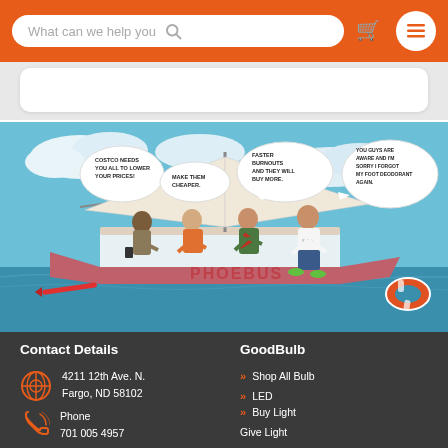What can we help you [search]
[Figure (illustration): Comic illustration of four people on a sailboat named PHOEBUS on the ocean. Four speech bubbles: 'COSTCO NEEDS YOU ALL TO LOWER YOUR PRICES!', 'MAKE THEM CHEAPER.', 'FASTER BURNOUTS AND THEY WILL BUY MORE.', 'YOU GUYS ARE AWARE AND I'M SORRY I FORGOT MY FOOT DEODORANT AGAIN.' A red pen/marker floats in the water and a life preserver is visible on the right side.]
Contact Details
4211 12th Ave. N.
Fargo, ND 58102
Phone
701 005 4957
GoodBulb
Shop All Bulb
LED
Buy Light
Give Light